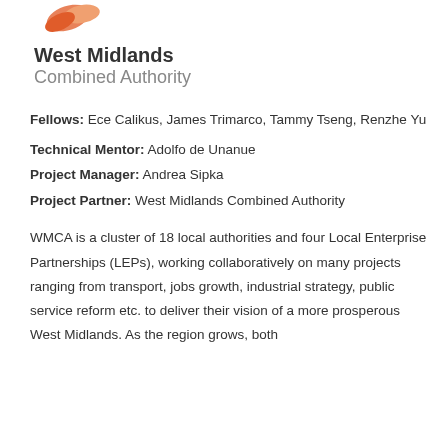[Figure (logo): West Midlands Combined Authority logo with orange swoosh graphic above bold text 'West Midlands' and grey text 'Combined Authority']
Fellows: Ece Calikus, James Trimarco, Tammy Tseng, Renzhe Yu
Technical Mentor: Adolfo de Unanue
Project Manager: Andrea Sipka
Project Partner: West Midlands Combined Authority
WMCA is a cluster of 18 local authorities and four Local Enterprise Partnerships (LEPs), working collaboratively on many projects ranging from transport, jobs growth, industrial strategy, public service reform etc. to deliver their vision of a more prosperous West Midlands. As the region grows, both